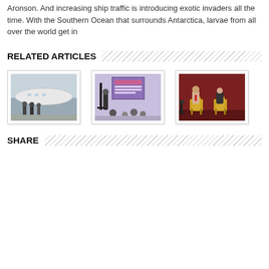Aronson. And increasing ship traffic is introducing exotic invaders all the time. With the Southern Ocean that surrounds Antarctica, larvae from all over the world get in
RELATED ARTICLES
[Figure (photo): People standing in front of a white aircraft in a hangar]
[Figure (photo): Person presenting at a conference with a Florida Tech screen displayed]
[Figure (photo): Two people sitting in director chairs on a dark red stage]
SHARE